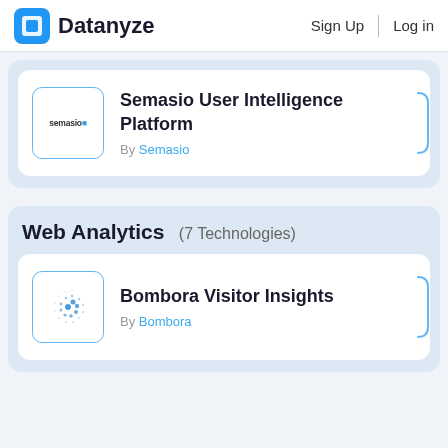Datanyze  Sign Up  Log in
Semasio User Intelligence Platform
By Semasio
Web Analytics  (7 Technologies)
Bombora Visitor Insights
By Bombora